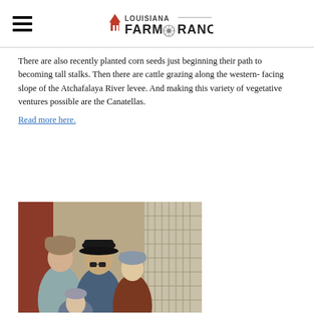Louisiana Farm & Ranch
There are also recently planted corn seeds just beginning their path to becoming tall stalks. Then there are cattle grazing along the western- facing slope of the Atchafalaya River levee. And making this variety of vegetative ventures possible are the Canatellas.
Read more here.
[Figure (photo): A family of three people wearing winter hats and jackets standing together, with a barn or storage building in the background.]